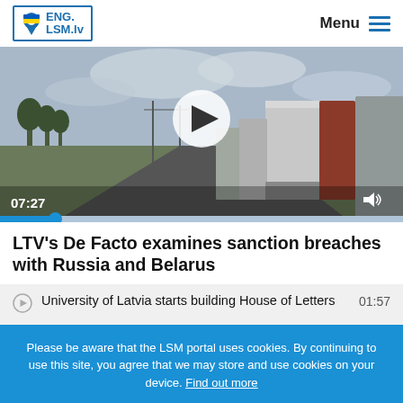ENG. LSM.lv | Menu
[Figure (screenshot): Video thumbnail showing a queue of trucks on a road with overcast sky. Play button overlay in center. Time label 07:27 at bottom left, volume icon at bottom right, progress bar with blue fill at bottom.]
LTV's De Facto examines sanction breaches with Russia and Belarus
University of Latvia starts building House of Letters  01:57
Please be aware that the LSM portal uses cookies. By continuing to use this site, you agree that we may store and use cookies on your device. Find out more
Accept and continue